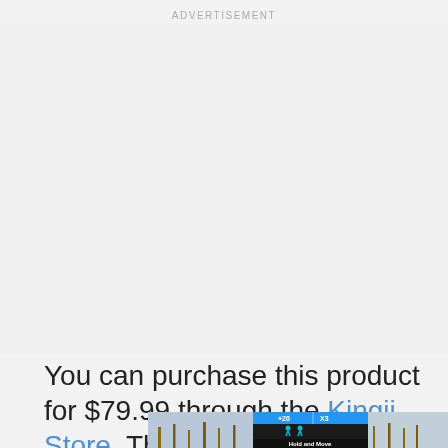ADVERTISEMENT
[Figure (other): Large blank advertisement space placeholder with light gray background]
You can purchase this product for $79.99 through the Kingii Store. The video below,
[Figure (photo): Bottom advertisement banner showing 'Hold and Move' app/product with two figures icon on dark background, outdoor winter scene with bare trees, blue header bar showing '+20 X3', close button (X) and help button (?) in top right corner]